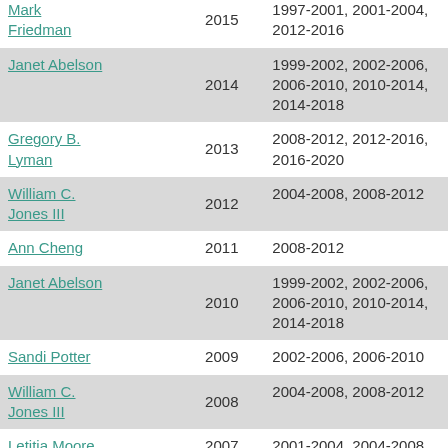| Name | Year | Terms |
| --- | --- | --- |
| Mark Friedman | 2015 | 1997-2001, 2001-2004, 2012-2016 |
| Janet Abelson | 2014 | 1999-2002, 2002-2006, 2006-2010, 2010-2014, 2014-2018 |
| Gregory B. Lyman | 2013 | 2008-2012, 2012-2016, 2016-2020 |
| William C. Jones III | 2012 | 2004-2008, 2008-2012 |
| Ann Cheng | 2011 | 2008-2012 |
| Janet Abelson | 2010 | 1999-2002, 2002-2006, 2006-2010, 2010-2014, 2014-2018 |
| Sandi Potter | 2009 | 2002-2006, 2006-2010 |
| William C. Jones III | 2008 | 2004-2008, 2008-2012 |
| Letitia Moore | 2007 | 2001-2004, 2004-2008 |
| Janet Abelson | 2006 | 1999-2002, 2002-2006, 2006-2010, 2010-2014, 2014-2018 |
| Sandi Potter | 2005 | 2002-2006, 2006-2010 |